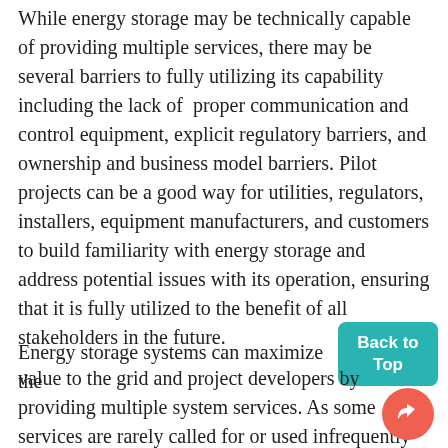While energy storage may be technically capable of providing multiple services, there may be several barriers to fully utilizing its capability including the lack of proper communication and control equipment, explicit regulatory barriers, and ownership and business model barriers. Pilot projects can be a good way for utilities, regulators, installers, equipment manufacturers, and customers to build familiarity with energy storage and address potential issues with its operation, ensuring that it is fully utilized to the benefit of all stakeholders in the future.
Energy storage systems can maximize the value to the grid and project developers by providing multiple system services. As some services are rarely called for or used infrequently in a given hour, designing BESS to